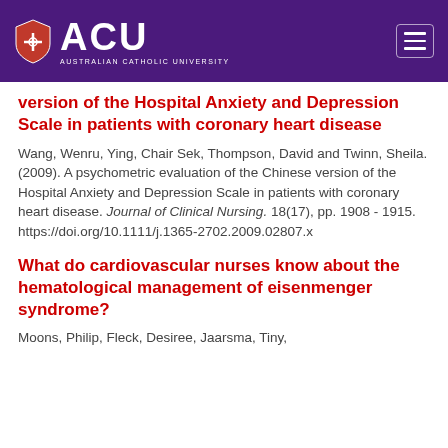ACU - Australian Catholic University
version of the Hospital Anxiety and Depression Scale in patients with coronary heart disease
Wang, Wenru, Ying, Chair Sek, Thompson, David and Twinn, Sheila. (2009). A psychometric evaluation of the Chinese version of the Hospital Anxiety and Depression Scale in patients with coronary heart disease. Journal of Clinical Nursing. 18(17), pp. 1908 - 1915. https://doi.org/10.1111/j.1365-2702.2009.02807.x
What do cardiovascular nurses know about the hematological management of eisenmenger syndrome?
Moons, Philip, Fleck, Desiree, Jaarsma, Tiny,